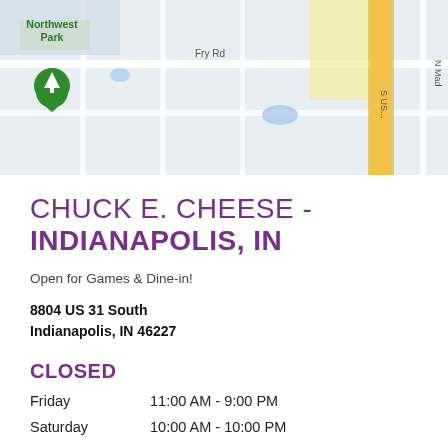[Figure (map): Google Maps view showing Northwest Park area with a green location pin, Fry Rd label, and a yellow road (US 31) on the right side of the map]
CHUCK E. CHEESE - INDIANAPOLIS, IN
Open for Games & Dine-in!
8804 US 31 South
Indianapolis, IN 46227
CLOSED
Friday    11:00 AM - 9:00 PM
Saturday    10:00 AM - 10:00 PM